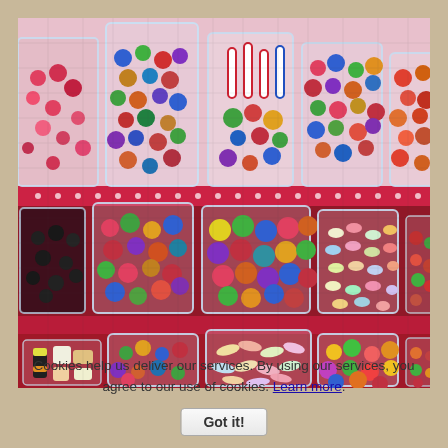[Figure (photo): A jigsaw puzzle image showing shelves of glass candy jars filled with colorful sweets, gumballs, jelly beans, and assorted candies. Three shelves visible with decorative pink/red patterned shelf liners. The puzzle pieces texture is visible throughout the image.]
Cookies help us deliver our services. By using our services, you agree to our use of cookies. Learn more.
Got it!